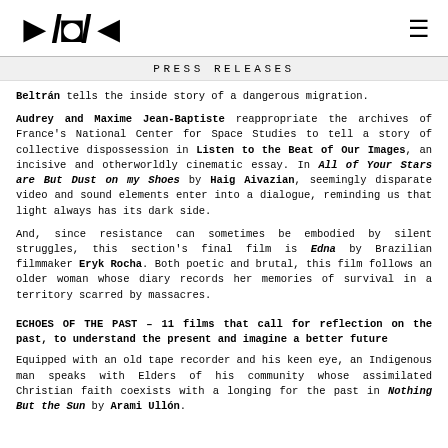RJDM [logo]
PRESS RELEASES
Beltrán tells the inside story of a dangerous migration.
Audrey and Maxime Jean-Baptiste reappropriate the archives of France's National Center for Space Studies to tell a story of collective dispossession in Listen to the Beat of Our Images, an incisive and otherworldly cinematic essay. In All of Your Stars are But Dust on my Shoes by Haig Aivazian, seemingly disparate video and sound elements enter into a dialogue, reminding us that light always has its dark side.
And, since resistance can sometimes be embodied by silent struggles, this section's final film is Edna by Brazilian filmmaker Eryk Rocha. Both poetic and brutal, this film follows an older woman whose diary records her memories of survival in a territory scarred by massacres.
ECHOES OF THE PAST – 11 films that call for reflection on the past, to understand the present and imagine a better future
Equipped with an old tape recorder and his keen eye, an Indigenous man speaks with Elders of his community whose assimilated Christian faith coexists with a longing for the past in Nothing But the Sun by Arami Ullón.